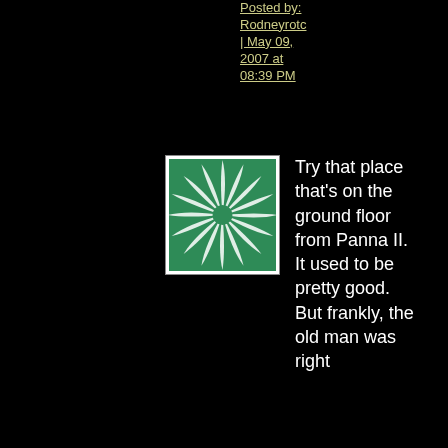Posted by: Rodneyrotc | May 09, 2007 at 08:39 PM
[Figure (illustration): Green swirling spiral pattern avatar icon on white background with black border]
Try that place that's on the ground floor from Panna II. It used to be pretty good. But frankly, the old man was right